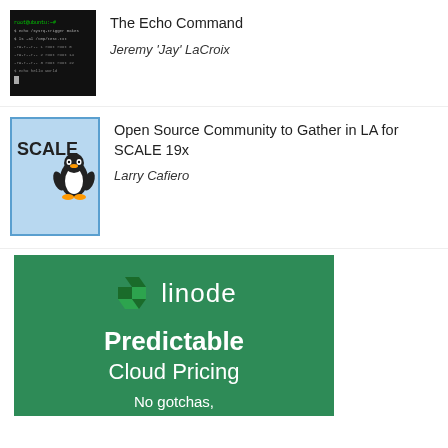[Figure (screenshot): Terminal screenshot showing command line text on black background]
The Echo Command
Jeremy 'Jay' LaCroix
[Figure (illustration): SCALE 19x logo with Linux penguin on blue background]
Open Source Community to Gather in LA for SCALE 19x
Larry Cafiero
[Figure (logo): Linode advertisement banner with green background showing Linode logo and text: Predictable Cloud Pricing, No gotchas,]